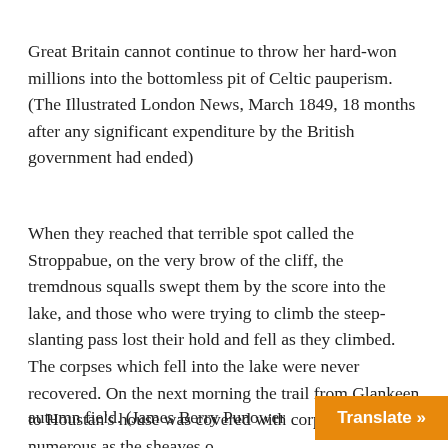Great Britain cannot continue to throw her hard-won millions into the bottomless pit of Celtic pauperism. (The Illustrated London News, March 1849, 18 months after any significant expenditure by the British government had ended)
When they reached that terrible spot called the Stroppabue, on the very brow of the cliff, the tremdnous squalls swept them by the score into the lake, and those who were trying to climb the steep-slanting pass lost their hold and fell as they climbed. The corpses which fell into the lake were never recovered. On the next morning the trail from Glankeen to Houstan's house was covered with corpses as numerous as the sheaves of an autumn field. (James Berry Punower...